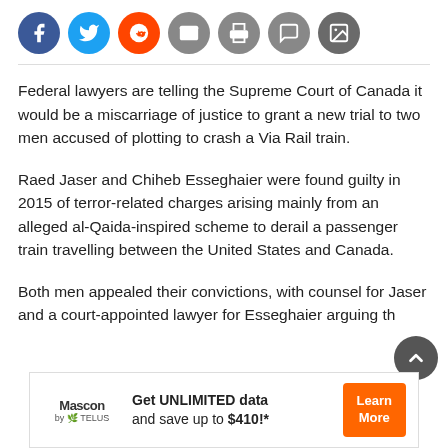[Figure (other): Row of social media sharing icons: Facebook (blue circle), Twitter (light blue circle), Reddit (orange circle), Email (grey circle), Print (grey circle), Comment (grey circle), Image/Gallery (dark grey circle)]
Federal lawyers are telling the Supreme Court of Canada it would be a miscarriage of justice to grant a new trial to two men accused of plotting to crash a Via Rail train.
Raed Jaser and Chiheb Esseghaier were found guilty in 2015 of terror-related charges arising mainly from an alleged al-Qaida-inspired scheme to derail a passenger train travelling between the United States and Canada.
Both men appealed their convictions, with counsel for Jaser and a court-appointed lawyer for Esseghaier arguing th
[Figure (other): Advertisement banner: Mascon by TELUS logo on left, text 'Get UNLIMITED data and save up to $410!*' in center, orange 'Learn More' button on right]